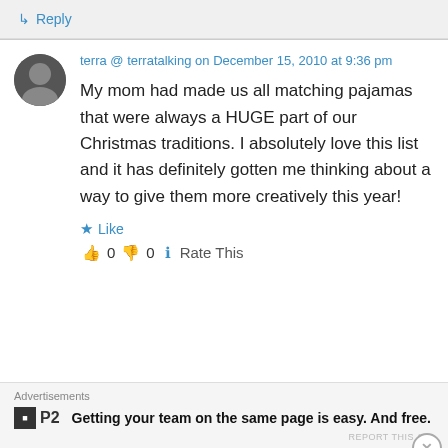↳ Reply
terra @ terratalking on December 15, 2010 at 9:36 pm
My mom had made us all matching pajamas that were always a HUGE part of our Christmas traditions. I absolutely love this list and it has definitely gotten me thinking about a way to give them more creatively this year!
★ Like
👍 0 👎 0 ℹ Rate This
Advertisements
Getting your team on the same page is easy. And free.